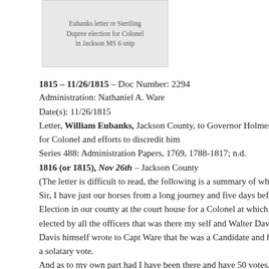[Figure (other): Thumbnail image placeholder with text: Eubanks letter re Steriling Dupree election for Colonel in Jackson MS 6 snip]
1815 – 11/26/1815 – Doc Number: 2294
Administration: Nathaniel A. Ware
Date(s): 11/26/1815
Letter, William Eubanks, Jackson County, to Governor Holmes election for Colonel and efforts to discredit him
Series 488: Administration Papers, 1769, 1788-1817; n.d.
1816 (or 1815), Nov 26th – Jackson County
(The letter is difficult to read, the following is a summary of wh
Sir, I have just our horses from a long journey and five days bef
Election in our county at the court house for a Colonel at which
elected by all the officers that was there my self and Walter Dav
Davis himself wrote to Capt Ware that he was a Candidate and h
a solatary vote.
And as to my own part had I have been there and have 50 votes.
Dupree I find there is a Scandalous petition discredited . . . han